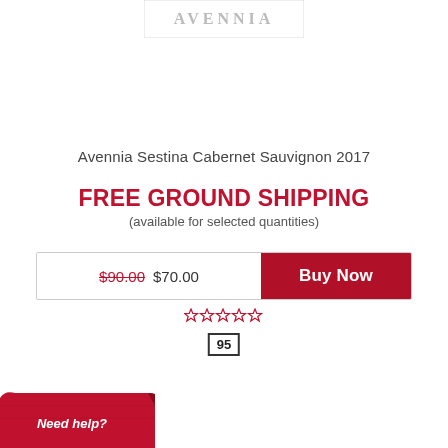[Figure (logo): Avennia wine brand logo with stylized text]
Avennia Sestina Cabernet Sauvignon 2017
FREE GROUND SHIPPING (available for selected quantities)
$90.00 $70.00  Buy Now
[Figure (other): Star rating (empty stars) in red]
95
[Figure (other): Need help? red banner with scroll curl decoration]